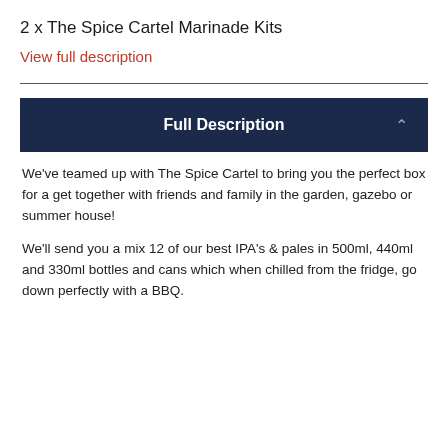2 x The Spice Cartel Marinade Kits
View full description
Full Description
We've teamed up with The Spice Cartel to bring you the perfect box for a get together with friends and family in the garden, gazebo or summer house!
We'll send you a mix 12 of our best IPA's & pales in 500ml, 440ml and 330ml bottles and cans which when chilled from the fridge, go down perfectly with a BBQ.